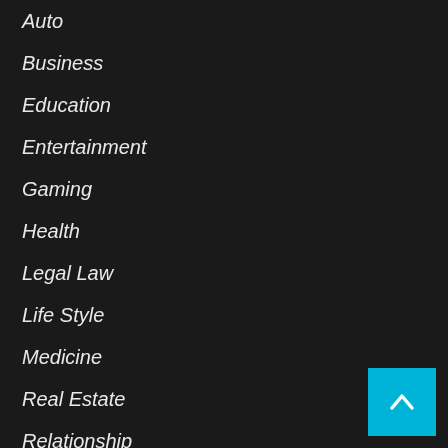Auto
Business
Education
Entertainment
Gaming
Health
Legal Law
Life Style
Medicine
Real Estate
Relationship
Shopping Product Reviews
Society and Tech